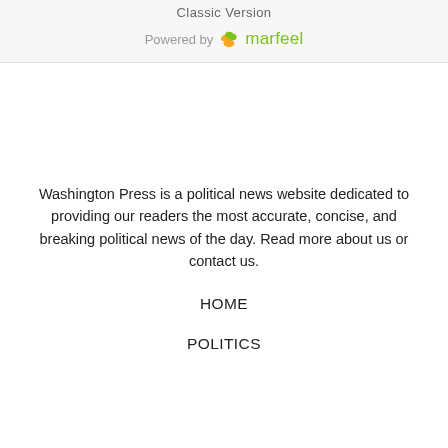Classic Version
[Figure (logo): Powered by marfeel logo with leaf icon]
Washington Press is a political news website dedicated to providing our readers the most accurate, concise, and breaking political news of the day. Read more about us or contact us.
HOME
POLITICS